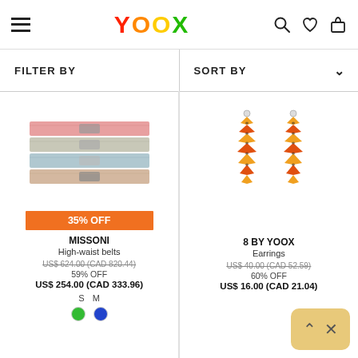YOOX — navigation header with hamburger menu, logo, search, wishlist, and cart icons
FILTER BY | SORT BY
[Figure (photo): MISSONI high-waist belts product image — stacked colorful knit bands with buckle]
35% OFF
MISSONI
High-waist belts
US$ 624.00 (CAD 820.44)
59% OFF
US$ 254.00 (CAD 333.96)
S M
[Figure (photo): 8 BY YOOX earrings product image — two feather-shaped dangling earrings in orange/red/gold]
8 BY YOOX
Earrings
US$ 40.00 (CAD 52.59)
60% OFF
US$ 16.00 (CAD 21.04)